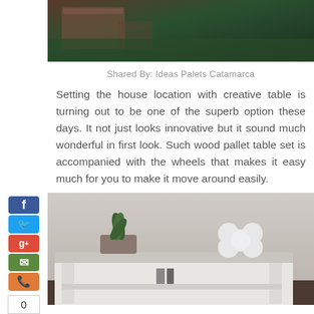[Figure (photo): Top portion of a photo showing a wooden pallet table on a dark carpet/rug]
Shared By: Ideas Palets Catamarca
Setting the house location with creative table is turning out to be one of the superb option these days. It not just looks innovative but it sound much wonderful in first look. Such wood pallet table set is accompanied with the wheels that makes it easy much for you to make it move around easily.
[Figure (photo): A white painted pallet table with a gray top surface, a potted plant and a white flower-shaped decoration on top, with items stored underneath]